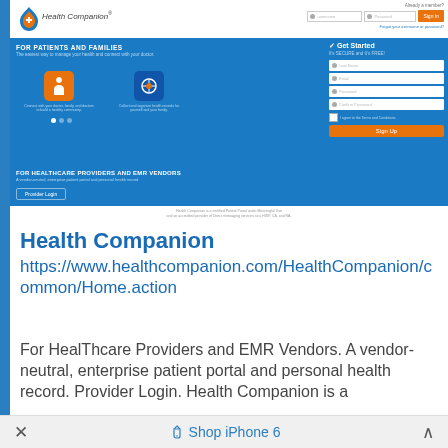[Figure (screenshot): Screenshot of the Health Companion website homepage showing the navigation header with logo and login fields, a blue hero section for patients and families with icons and a registration form, and a providers section with a Provider Login button.]
Health Companion
https://www.healthcompanion.com/HealthCompanion/common/Home.action
For HealThcare Providers and EMR Vendors. A vendor-neutral, enterprise patient portal and personal health record. Provider Login. Health Companion is a
× Shop iPhone 6 ^